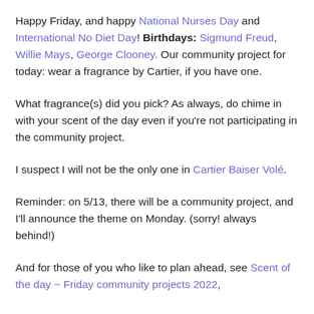Happy Friday, and happy National Nurses Day and International No Diet Day! Birthdays: Sigmund Freud, Willie Mays, George Clooney. Our community project for today: wear a fragrance by Cartier, if you have one.
What fragrance(s) did you pick? As always, do chime in with your scent of the day even if you're not participating in the community project.
I suspect I will not be the only one in Cartier Baiser Volé.
Reminder: on 5/13, there will be a community project, and I'll announce the theme on Monday. (sorry! always behind!)
And for those of you who like to plan ahead, see Scent of the day ~ Friday community projects 2022,